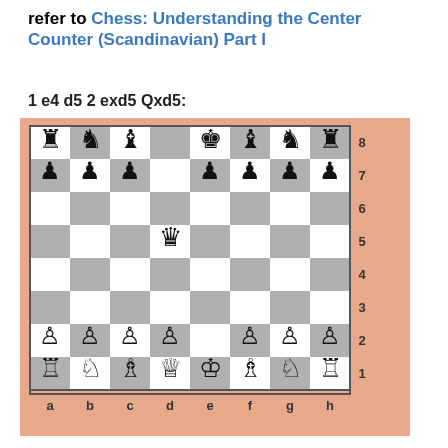refer to Chess: Understanding the Center Counter (Scandinavian) Part I
1 e4 d5 2 exd5 Qxd5:
[Figure (other): Chess board diagram showing position after 1 e4 d5 2 exd5 Qxd5. Black pieces on rank 8: Ra8, Nb8, Bc8, empty d8, Ke8, Bf8, Ng8, Rh8. Black pawns on rank 7: a7, b7, c7, empty d7, e7, f7, g7, h7. Black queen on d5. White pawns on rank 2: a2, b2, c2, d2, empty e2, f2, g2, h2. White pieces on rank 1: Ra1, Nb1, Bc1, Qd1, Ke1, Bf1, Ng1, Rh1.]